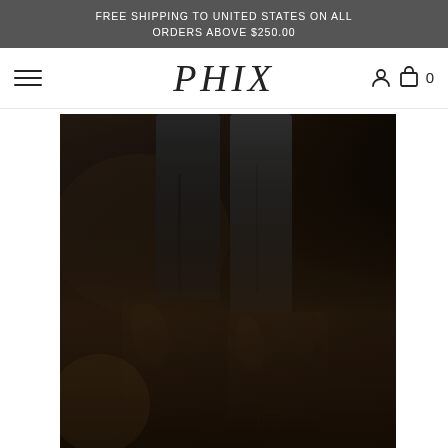FREE SHIPPING TO UNITED STATES ON ALL ORDERS ABOVE $250.00
PHIX
[Figure (photo): A close-up photograph of a person's legs wearing dark trousers and black leather boots with a buckle strap detail, standing on a dark wooden floor.]